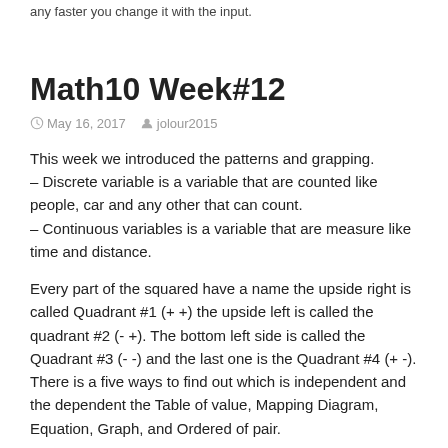any faster you change it with the input.
Math10 Week#12
May 16, 2017  jolour2015
This week we introduced the patterns and grapping. – Discrete variable is a variable that are counted like people, car and any other that can count. – Continuous variables is a variable that are measure like time and distance.
Every part of the squared have a name the upside right is called Quadrant #1 (+ +) the upside left is called the quadrant #2 (- +). The bottom left side is called the Quadrant #3 (- -) and the last one is the Quadrant #4 (+ -). There is a five ways to find out which is independent and the dependent the Table of value, Mapping Diagram, Equation, Graph, and Ordered of pair.